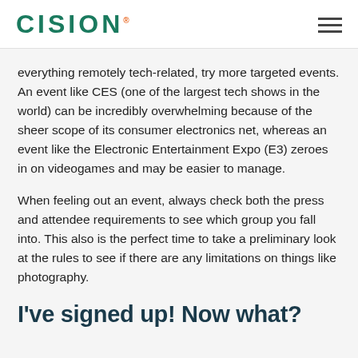CISION
everything remotely tech-related, try more targeted events. An event like CES (one of the largest tech shows in the world) can be incredibly overwhelming because of the sheer scope of its consumer electronics net, whereas an event like the Electronic Entertainment Expo (E3) zeroes in on videogames and may be easier to manage.
When feeling out an event, always check both the press and attendee requirements to see which group you fall into. This also is the perfect time to take a preliminary look at the rules to see if there are any limitations on things like photography.
I've signed up! Now what?